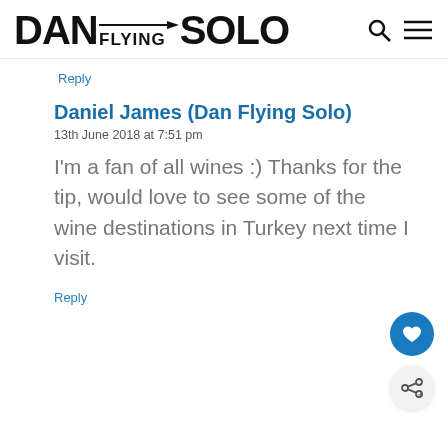DAN FLYING SOLO
Reply
Daniel James (Dan Flying Solo)
13th June 2018 at 7:51 pm
I'm a fan of all wines :) Thanks for the tip, would love to see some of the wine destinations in Turkey next time I visit.
Reply